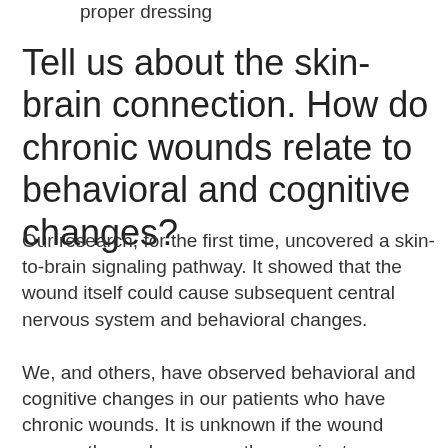proper dressing
Tell us about the skin-brain connection. How do chronic wounds relate to behavioral and cognitive changes?
Our research, for the first time, uncovered a skin-to-brain signaling pathway. It showed that the wound itself could cause subsequent central nervous system and behavioral changes.
We, and others, have observed behavioral and cognitive changes in our patients who have chronic wounds. It is unknown if the wound causes these changes, or they are just associated findings. The idea we